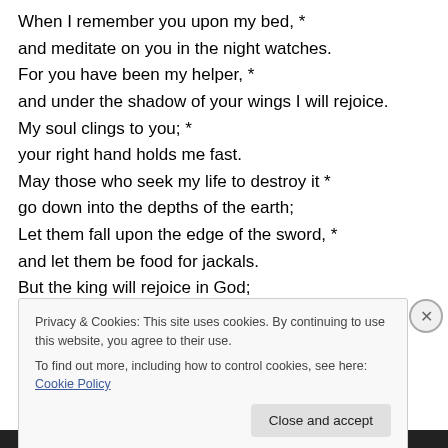When I remember you upon my bed, *
and meditate on you in the night watches.
For you have been my helper, *
and under the shadow of your wings I will rejoice.
My soul clings to you; *
your right hand holds me fast.
May those who seek my life to destroy it *
go down into the depths of the earth;
Let them fall upon the edge of the sword, *
and let them be food for jackals.
But the king will rejoice in God;
Privacy & Cookies: This site uses cookies. By continuing to use this website, you agree to their use.
To find out more, including how to control cookies, see here: Cookie Policy